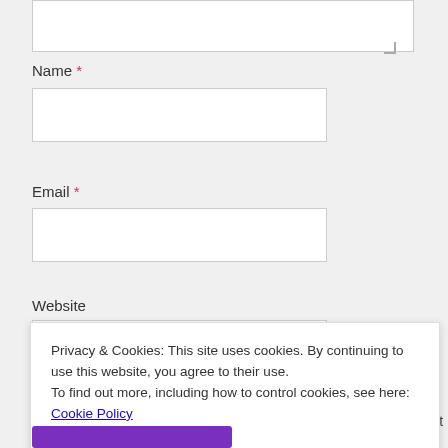Name *
Email *
Website
Save my name, email, and website in this browser for the next
Privacy & Cookies: This site uses cookies. By continuing to use this website, you agree to their use.
To find out more, including how to control cookies, see here: Cookie Policy
Close and accept